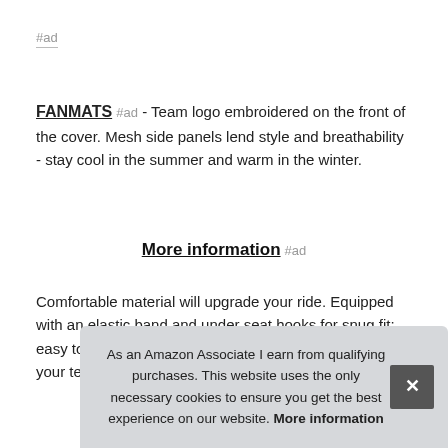#ad
FANMATS #ad - Team logo embroidered on the front of the cover. Mesh side panels lend style and breathability - stay cool in the summer and warm in the winter.
More information #ad
Comfortable material will upgrade your ride. Equipped with an elastic band and under seat hooks for snug fit; easy to install. Protects seat and makes a statement for your team pride.
As an Amazon Associate I earn from qualifying purchases. This website uses the only necessary cookies to ensure you get the best experience on our website. More information